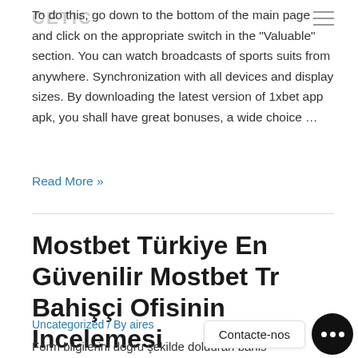CETIC
To do this, go down to the bottom of the main page and click on the appropriate switch in the "Valuable" section. You can watch broadcasts of sports suits from anywhere. Synchronization with all devices and display sizes. By downloading the latest version of 1xbet app apk, you shall have great bonuses, a wide choice …
Read More »
Mostbet Türkiye En Güvenilir Mostbet Tr Bahişçi Ofisinin Incelemesi
Uncategorized / By aires
Form bilgilerini doğru şekilde dolduran bahis tutkunlarının bahislere giriş yapmaları mümkün olabilir. Canlı bet sitelerinin